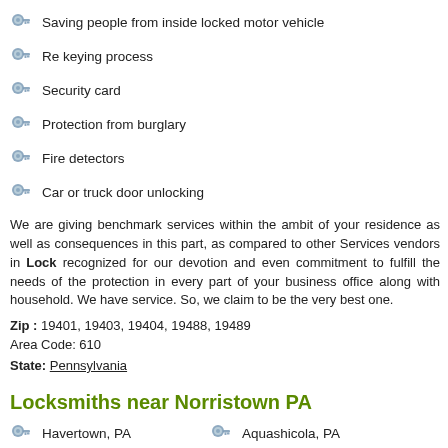Saving people from inside locked motor vehicle
Re keying process
Security card
Protection from burglary
Fire detectors
Car or truck door unlocking
We are giving benchmark services within the ambit of your residence as well as consequences in this part, as compared to other Services vendors in Lock recognized for our devotion and even commitment to fulfill the needs of the protection in every part of your business office along with household. We have service. So, we claim to be the very best one.
Zip : 19401, 19403, 19404, 19488, 19489
Area Code: 610
State: Pennsylvania
Locksmiths near Norristown PA
Havertown, PA
Aquashicola, PA